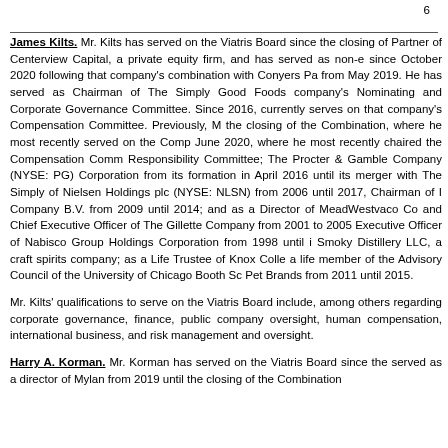6
James Kilts. Mr. Kilts has served on the Viatris Board since the closing of Partner of Centerview Capital, a private equity firm, and has served as non-e since October 2020 following that company's combination with Conyers Pa from May 2019. He has served as Chairman of The Simply Good Foods company's Nominating and Corporate Governance Committee. Since 2016, currently serves on that company's Compensation Committee. Previously, M the closing of the Combination, where he most recently served on the Comp June 2020, where he most recently chaired the Compensation Comm Responsibility Committee; The Procter & Gamble Company (NYSE: PG) Corporation from its formation in April 2016 until its merger with The Simply of Nielsen Holdings plc (NYSE: NLSN) from 2006 until 2017, Chairman of I Company B.V. from 2009 until 2014; and as a Director of MeadWestvaco Co and Chief Executive Officer of The Gillette Company from 2001 to 2005 Executive Officer of Nabisco Group Holdings Corporation from 1998 until i Smoky Distillery LLC, a craft spirits company; as a Life Trustee of Knox Colle a life member of the Advisory Council of the University of Chicago Booth Sc Pet Brands from 2011 until 2015.
Mr. Kilts' qualifications to serve on the Viatris Board include, among others regarding corporate governance, finance, public company oversight, human compensation, international business, and risk management and oversight.
Harry A. Korman. Mr. Korman has served on the Viatris Board since the served as a director of Mylan from 2019 until the closing of the Combination